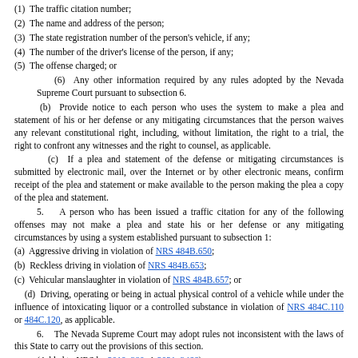(1)  The traffic citation number;
(2)  The name and address of the person;
(3)  The state registration number of the person's vehicle, if any;
(4)  The number of the driver's license of the person, if any;
(5)  The offense charged; or
(6)  Any other information required by any rules adopted by the Nevada Supreme Court pursuant to subsection 6.
(b)  Provide notice to each person who uses the system to make a plea and statement of his or her defense or any mitigating circumstances that the person waives any relevant constitutional right, including, without limitation, the right to a trial, the right to confront any witnesses and the right to counsel, as applicable.
(c)  If a plea and statement of the defense or mitigating circumstances is submitted by electronic mail, over the Internet or by other electronic means, confirm receipt of the plea and statement or make available to the person making the plea a copy of the plea and statement.
5.   A person who has been issued a traffic citation for any of the following offenses may not make a plea and state his or her defense or any mitigating circumstances by using a system established pursuant to subsection 1:
(a)  Aggressive driving in violation of NRS 484B.650;
(b)  Reckless driving in violation of NRS 484B.653;
(c)  Vehicular manslaughter in violation of NRS 484B.657; or
(d)  Driving, operating or being in actual physical control of a vehicle while under the influence of intoxicating liquor or a controlled substance in violation of NRS 484C.110 or 484C.120, as applicable.
6.   The Nevada Supreme Court may adopt rules not inconsistent with the laws of this State to carry out the provisions of this section.
(Added to NRS by 2019, 380; A 2021, 3466)
NRS 484A.615  Court or traffic violations bureau authorized to establish system to allow person to respond to traffic citation or civil infraction citation by mail or electronic means; requirements of system; exceptions; Nevada Supreme Court may adopt rules regarding system. [Effective January 1, 2023.]